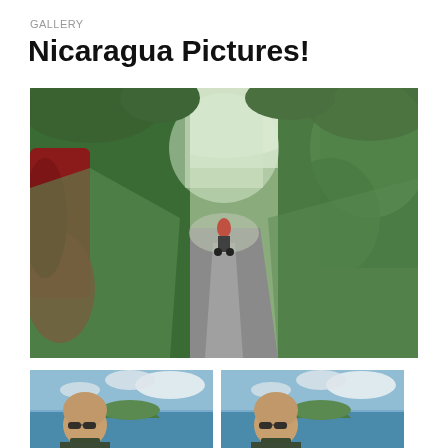GALLERY
Nicaragua Pictures!
[Figure (photo): A rural dirt/paved road flanked by dense green tropical vegetation. A red vehicle is partially visible and blurred on the left side. A person on a motorcycle is visible in the distance riding away down the road. Overcast sky visible at the end of the road.]
[Figure (photo): Selfie of a bald man with sunglasses outdoors with ocean, a green island, and cloudy sky in the background.]
[Figure (photo): Selfie of a bald man with sunglasses outdoors with ocean, a green island, and cloudy sky in the background (duplicate/similar image).]